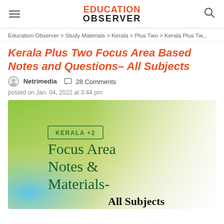EDUCATION OBSERVER
Education Observer > Study Materials > Kerala > Plus Two > Kerala Plus Tw...
Kerala Plus Two Focus Area Based Notes and Questions– All Subjects
Netrimedia  28 Comments
posted on Jan. 04, 2022 at 3:44 pm
[Figure (illustration): Book cover image with gradient background (green to blue), text reads 'KERALA +2' in a bordered label, 'Focus Area Notes & Materials-' in dark green serif font, and 'All Subjects' in bold black serif font.]